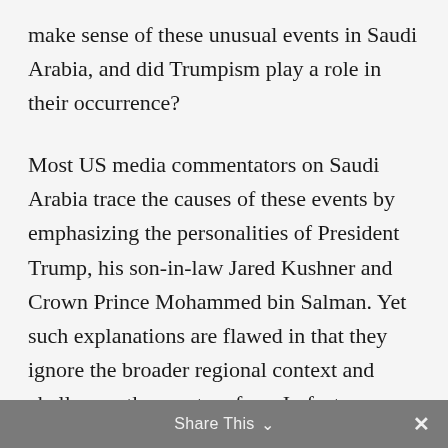make sense of these unusual events in Saudi Arabia, and did Trumpism play a role in their occurrence?
Most US media commentators on Saudi Arabia trace the causes of these events by emphasizing the personalities of President Trump, his son-in-law Jared Kushner and Crown Prince Mohammed bin Salman. Yet such explanations are flawed in that they ignore the broader regional context and challenges these actors face. In fact, Trump’s election played at best a very minor role in shaping events inside of Saudi Arabia. Deeper regional and domestic structural changes were much more influential —notably the Qatar crisis and the ascendance
Share This ∨   ×